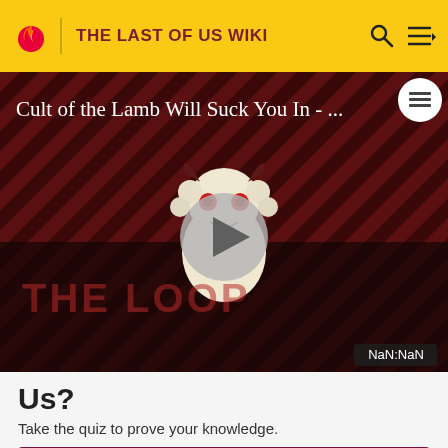THE LAST OF US WIKI
[Figure (screenshot): Video thumbnail showing 'Cult of the Lamb Will Suck You In - ...' with a cartoon lamb character, play button in center, THE LOOP logo text, and NaN:NaN time display. Diagonal striped dark red background.]
Us?
Take the quiz to prove your knowledge.
TAKE THE QUIZ
Check out more quizzes at Fandom Trivia